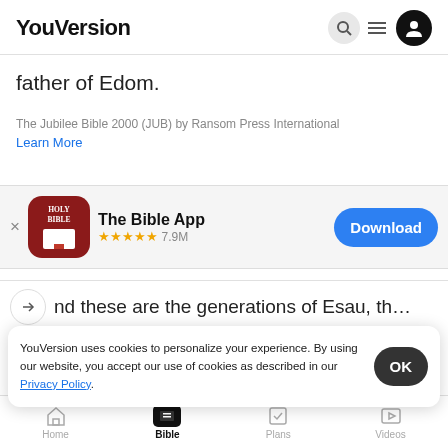YouVersion
father of Edom.
The Jubilee Bible 2000 (JUB) by Ransom Press International
Learn More
[Figure (screenshot): The Bible App download banner with Holy Bible icon, 5-star rating 7.9M, and Download button]
nd these are the generations of Esau, th
same is
YouVersion uses cookies to personalize your experience. By using our website, you accept our use of cookies as described in our Privacy Policy.
2 Esau took wives of the daughters of Chanaan.
Home  Bible  Plans  Videos